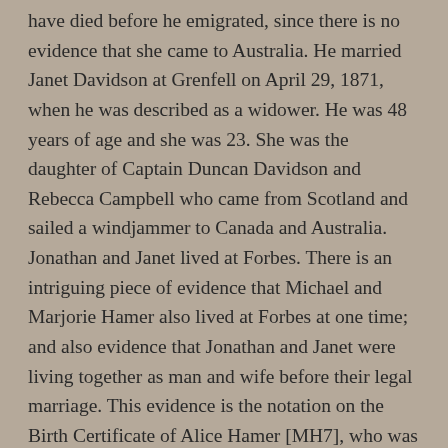have died before he emigrated, since there is no evidence that she came to Australia. He married Janet Davidson at Grenfell on April 29, 1871, when he was described as a widower. He was 48 years of age and she was 23. She was the daughter of Captain Duncan Davidson and Rebecca Campbell who came from Scotland and sailed a windjammer to Canada and Australia. Jonathan and Janet lived at Forbes. There is an intriguing piece of evidence that Michael and Marjorie Hamer also lived at Forbes at one time; and also evidence that Jonathan and Janet were living together as man and wife before their legal marriage. This evidence is the notation on the Birth Certificate of Alice Hamer [MH7], who was born at Forbes on March 30, 1868, when the name of Mrs Jonathan Hamer is given as midwife. Janet is known to have been a midwife, for she assisted at the birth of the two daughters of her son Ellis [JH1]; but she and Jonathan were not married until 1871. Jonathan is listed in Grevill's Post Office Directory of 1872 as a miner at South Lead mine at Forbes; he apparently stayed there for a short time and then started a small farm in that district not far